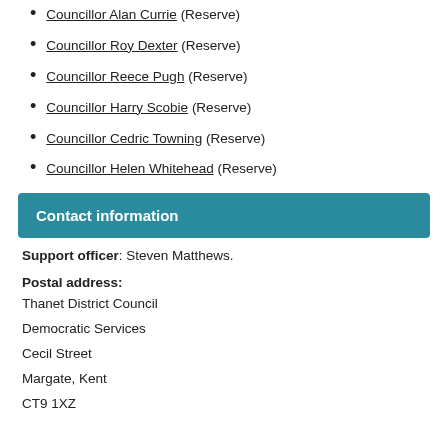Councillor Alan Currie (Reserve)
Councillor Roy Dexter (Reserve)
Councillor Reece Pugh (Reserve)
Councillor Harry Scobie (Reserve)
Councillor Cedric Towning (Reserve)
Councillor Helen Whitehead (Reserve)
Contact information
Support officer: Steven Matthews.
Postal address:
Thanet District Council
Democratic Services
Cecil Street
Margate, Kent
CT9 1XZ